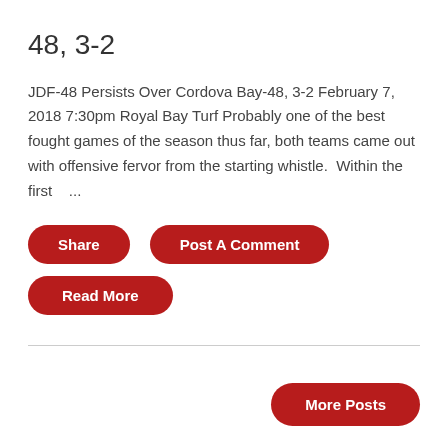48, 3-2
JDF-48 Persists Over Cordova Bay-48, 3-2 February 7, 2018 7:30pm Royal Bay Turf Probably one of the best fought games of the season thus far, both teams came out with offensive fervor from the starting whistle.  Within the first   ...
Share
Post A Comment
Read More
More Posts